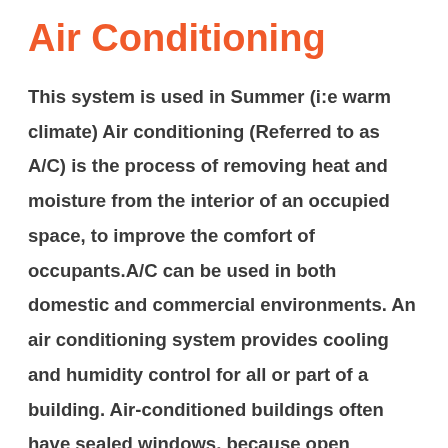Air Conditioning
This system is used in Summer (i:e warm climate) Air conditioning (Referred to as A/C) is the process of removing heat and moisture from the interior of an occupied space, to improve the comfort of occupants.A/C can be used in both domestic and commercial environments. An air conditioning system provides cooling and humidity control for all or part of a building. Air-conditioned buildings often have sealed windows, because open windows would work against the system intended to maintain constant indoor air conditions. Outside air is in some ways